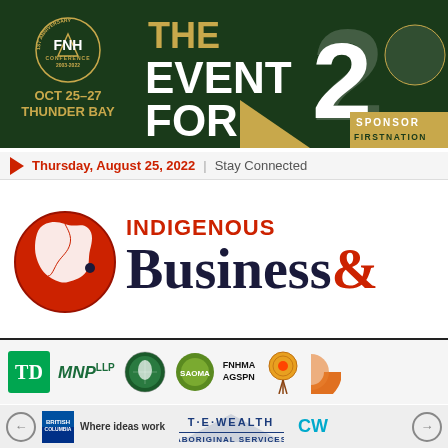[Figure (logo): FNH Conference 2003-2022 banner with THE EVENT FOR text, OCT 25-27 THUNDER BAY, 20th anniversary, SPONSOR FIRSTNATION text on dark green background]
Thursday, August 25, 2022  |  Stay Connected
[Figure (logo): Indigenous Business & Finance magazine logo with red globe and text]
[Figure (logo): Sponsor logos row 1: TD, MNP LLP, tribal logo, SAOMA logo, FNHMA AGSPN text, dreamcatcher logo, partial logo]
[Figure (logo): Sponsor logos row 2: back arrow, British Columbia Where ideas work, T·E·WEALTH Aboriginal Services, CW, forward arrow]